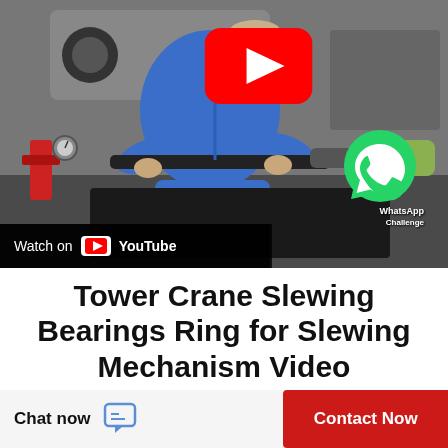[Figure (screenshot): Video thumbnail showing a mechanic in blue overalls using a press tool on automotive equipment in a garage, with a red YouTube play button overlay and a WhatsApp icon in the lower right. Bottom bar reads 'Watch on YouTube'.]
Tower Crane Slewing Bearings Ring for Slewing Mechanism Video
Chat now | Contact Now